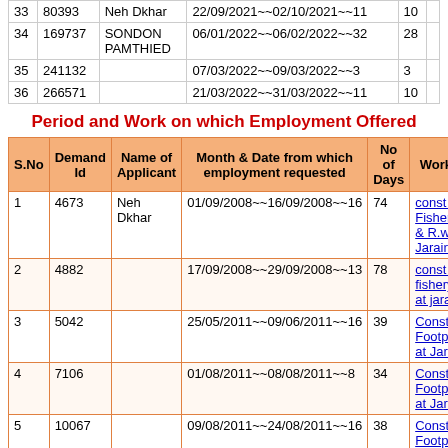|  |  |  |  |  |  |
| --- | --- | --- | --- | --- | --- |
| 33 | 80393 | Neh Dkhar | 22/09/2021~~02/10/2021~~11 | 10 |  |
| 34 | 169737 | SONDON PAMTHIED | 06/01/2022~~06/02/2022~~32 | 28 |  |
| 35 | 241132 |  | 07/03/2022~~09/03/2022~~3 | 3 |  |
| 36 | 266571 |  | 21/03/2022~~31/03/2022~~11 | 10 |  |
Period and Work on which Employment Offered
| S.No | Demand Id | Name of Applicant | Month & Date from which employment requested | No of Days | Work Name |
| --- | --- | --- | --- | --- | --- |
| 1 | 4673 | Neh Dkhar | 01/09/2008~~16/09/2008~~16 | 74 | const of Fishery Pond & R.wall at Jarain |
| 2 | 4882 |  | 17/09/2008~~29/09/2008~~13 | 78 | const ot fishery pond at jarain |
| 3 | 5042 |  | 25/05/2011~~09/06/2011~~16 | 39 | Const of CC Footpath/R/W at Jarain |
| 4 | 7106 |  | 01/08/2011~~08/08/2011~~8 | 34 | Const of CC Footpath/R/W at Jarain |
| 5 | 10067 |  | 09/08/2011~~24/08/2011~~16 | 38 | Const of CC Footpath/R/W at Jarain |